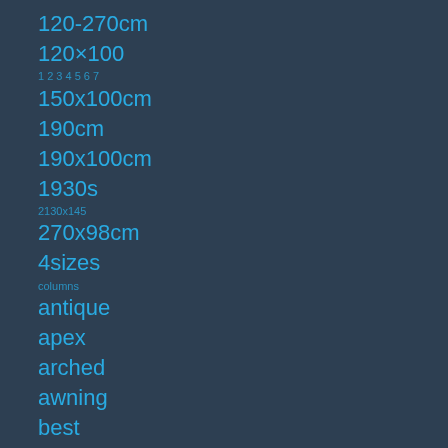120-270cm
120×100
1 2 3   4 5 6 7
150x100cm
190cm
190x100cm
1930s
2130x145
270x98cm
4sizes
columns
antique
apex
arched
awning
best
black
blackgrey
bradcot
bricklaying
budget
build
building